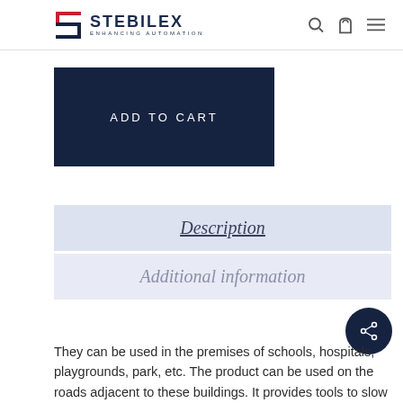STEBILEX ENHANCING AUTOMATION
ADD TO CART
Description
Additional information
They can be used in the premises of schools, hospitals, playgrounds, park, etc. The product can be used on the roads adjacent to these buildings. It provides tools to slow down.